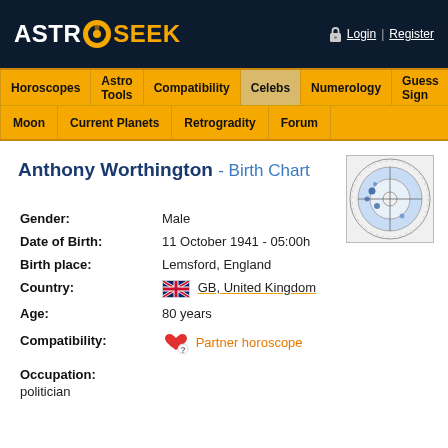ASTROSEEK - Login | Register
Horoscopes | Astro Tools | Compatibility | Celebs | Numerology | Guess Sign
Moon | Current Planets | Retrogradity | Forum
Anthony Worthington - Birth Chart
[Figure (other): Astrological birth chart wheel for Anthony Worthington]
| Field | Value |
| --- | --- |
| Gender: | Male |
| Date of Birth: | 11 October 1941 - 05:00h |
| Birth place: | Lemsford, England |
| Country: | GB, United Kingdom |
| Age: | 80 years |
| Compatibility: | Partner horoscope |
| Occupation: | politician |